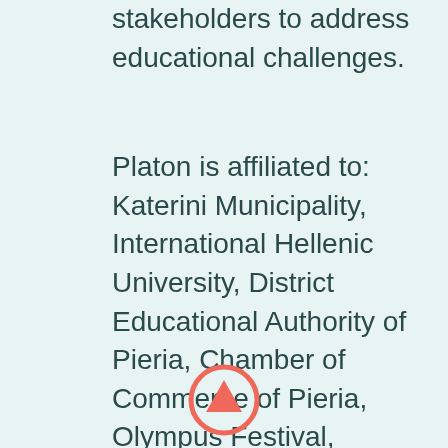stakeholders to address educational challenges.
Platon is affiliated to: Katerini Municipality, International Hellenic University, District Educational Authority of Pieria, Chamber of Commerce of Pieria, Olympus Festival, Volunteering team of Pieria, Cultural and Athletic clubs.
website: platon.edu.gr
[Figure (illustration): A circular button with an upward arrow icon, with coral/salmon colored outline and arrow]